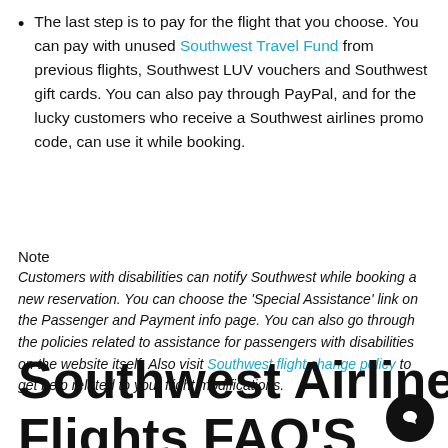The last step is to pay for the flight that you choose. You can pay with unused Southwest Travel Fund from previous flights, Southwest LUV vouchers and Southwest gift cards. You can also pay through PayPal, and for the lucky customers who receive a Southwest airlines promo code, can use it while booking.
Note
Customers with disabilities can notify Southwest while booking a new reservation. You can choose the 'Special Assistance' link on the Passenger and Payment info page. You can also go through the policies related to assistance for passengers with disabilities on the website itself. Also visit Southwest flight change policy to get help related to your flight modifications.
Southwest Airline Flights FAQ'S